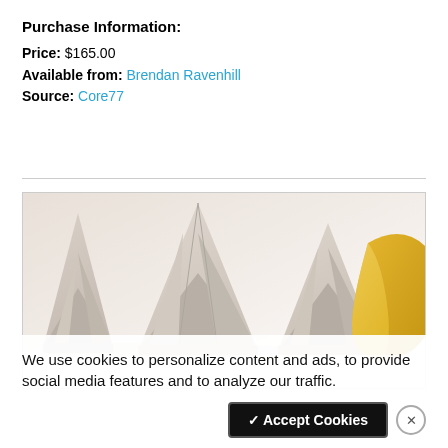Purchase Information:
Price: $165.00
Available from: Brendan Ravenhill
Source: Core77
[Figure (photo): Photo of geometric origami-style paper or ceramic cup forms in white/beige tones, with a single yellow/gold curved bowl shape on the right side.]
We use cookies to personalize content and ads, to provide social media features and to analyze our traffic.